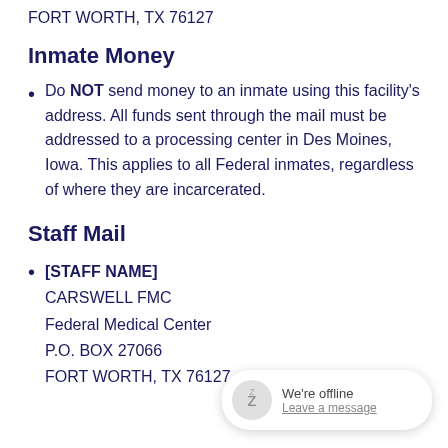FORT WORTH, TX 76127
Inmate Money
Do NOT send money to an inmate using this facility's address. All funds sent through the mail must be addressed to a processing center in Des Moines, Iowa. This applies to all Federal inmates, regardless of where they are incarcerated.
Staff Mail
[STAFF NAME]
CARSWELL FMC
Federal Medical Center
P.O. BOX 27066
FORT WORTH, TX 76127